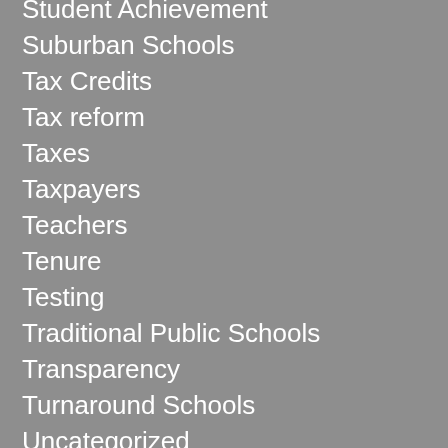Student Achievement
Suburban Schools
Tax Credits
Tax reform
Taxes
Taxpayers
Teachers
Tenure
Testing
Traditional Public Schools
Transparency
Turnaround Schools
Uncategorized
Union
United States Supreme Court
Urban Schools